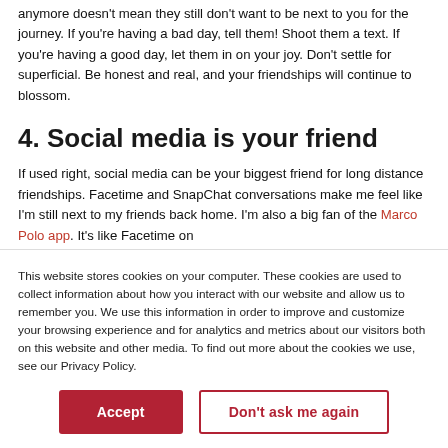anymore doesn't mean they still don't want to be next to you for the journey. If you're having a bad day, tell them! Shoot them a text. If you're having a good day, let them in on your joy. Don't settle for superficial. Be honest and real, and your friendships will continue to blossom.
4. Social media is your friend
If used right, social media can be your biggest friend for long distance friendships. Facetime and SnapChat conversations make me feel like I'm still next to my friends back home. I'm also a big fan of the Marco Polo app. It's like Facetime on
This website stores cookies on your computer. These cookies are used to collect information about how you interact with our website and allow us to remember you. We use this information in order to improve and customize your browsing experience and for analytics and metrics about our visitors both on this website and other media. To find out more about the cookies we use, see our Privacy Policy.